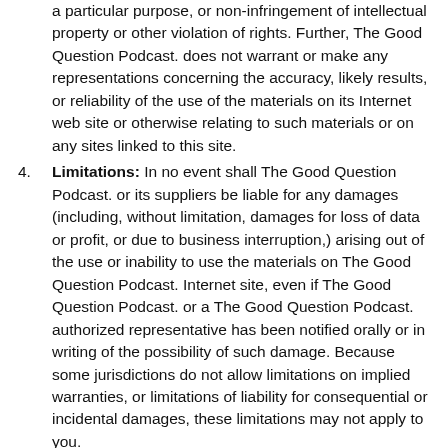a particular purpose, or non-infringement of intellectual property or other violation of rights. Further, The Good Question Podcast. does not warrant or make any representations concerning the accuracy, likely results, or reliability of the use of the materials on its Internet web site or otherwise relating to such materials or on any sites linked to this site.
Limitations: In no event shall The Good Question Podcast. or its suppliers be liable for any damages (including, without limitation, damages for loss of data or profit, or due to business interruption,) arising out of the use or inability to use the materials on The Good Question Podcast. Internet site, even if The Good Question Podcast. or a The Good Question Podcast. authorized representative has been notified orally or in writing of the possibility of such damage. Because some jurisdictions do not allow limitations on implied warranties, or limitations of liability for consequential or incidental damages, these limitations may not apply to you.